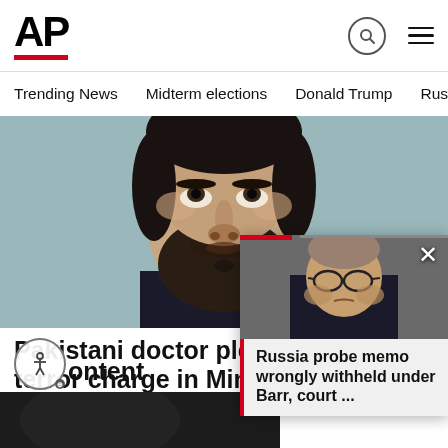[Figure (logo): AP (Associated Press) logo in bold black with red underline]
Trending News   Midterm elections   Donald Trump   Russia-Ukr
[Figure (photo): Close-up photo of a bearded man with dark hair, face partially cropped, looking upward, against a light blue-green background]
Pakistani doctor pleads guilty to terror charge in Minnesota
ST. PAUL, Minn. (AP) — A Pakistani d… Clinic research coordinator pleaded gui…
AP  3 days ago
ontent
[Figure (photo): Photo of an older man with glasses (William Barr) in a popup overlay with red bar and close button]
Russia probe memo wrongly withheld under Barr, court ...